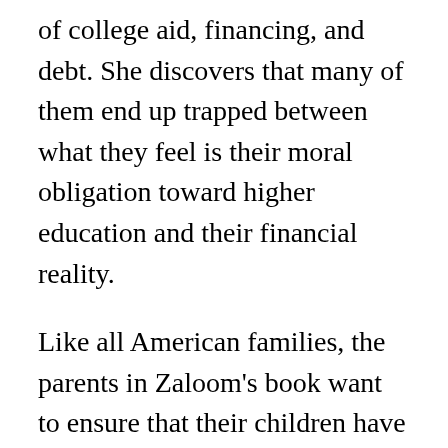of college aid, financing, and debt. She discovers that many of them end up trapped between what they feel is their moral obligation toward higher education and their financial reality.
Like all American families, the parents in Zaloom's book want to ensure that their children have opportunities to be independent adults. But in order to achieve this, families feel they must go into debt, often endangering their place in the middle class. With college, parents are often making a risky gamble that a large investment today will give their children a comfortable life in